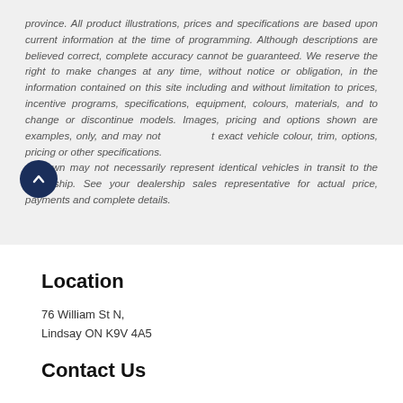province. All product illustrations, prices and specifications are based upon current information at the time of programming. Although descriptions are believed correct, complete accuracy cannot be guaranteed. We reserve the right to make changes at any time, without notice or obligation, in the information contained on this site including and without limitation to prices, incentive programs, specifications, equipment, colours, materials, and to change or discontinue models. Images, pricing and options shown are examples, only, and may not reflect exact vehicle colour, trim, options, pricing or other specifications. Images shown may not necessarily represent identical vehicles in transit to the dealership. See your dealership sales representative for actual price, payments and complete details.
Location
76 William St N,
Lindsay ON K9V 4A5
Contact Us